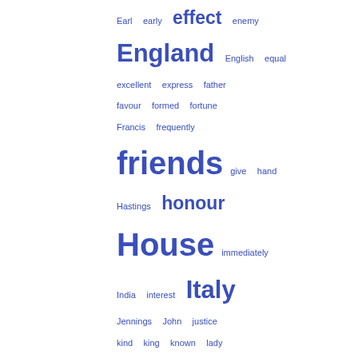[Figure (infographic): Word cloud (tag cloud) showing words in blue with varying font sizes indicating frequency. Words visible include: Earl, early, effect, enemy, England, English, equal, excellent, express, father, favour, formed, fortune, Francis, frequently, friends, give, hand, Hastings, honour, House, immediately, India, interest, Italy, Jennings, John, justice, kind, king, known, lady, land, late, least, length, letters, lived, London, Lord, manner, means, memoir, mind, native, nature, never, object, observed, obtained]